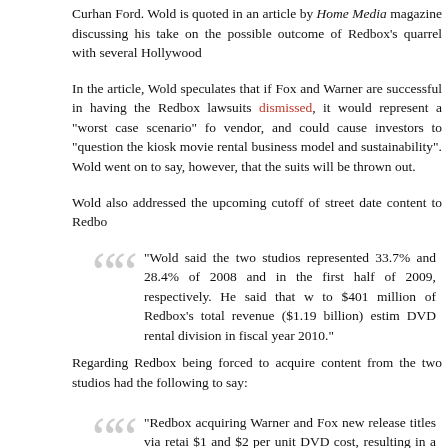Curhan Ford. Wold is quoted in an article by Home Media magazine discussing his take on the possible outcome of Redbox's quarrel with several Hollywood studios.
In the article, Wold speculates that if Fox and Warner are successful in having the Redbox lawsuits dismissed, it would represent a "worst case scenario" for the vendor, and could cause investors to "question the kiosk movie rental business model and sustainability". Wold went on to say, however, that the suits will be thrown out.
Wold also addressed the upcoming cutoff of street date content to Redbox...
“Wold said the two studios represented 33.7% and 28.4% of revenues in 2008 and in the first half of 2009, respectively. He said that we equates to $401 million of Redbox's total revenue ($1.19 billion) estimated for the DVD rental division in fiscal year 2010.”
Regarding Redbox being forced to acquire content from the two studios through retail, Wold had the following to say:
“Redbox acquiring Warner and Fox new release titles via retail could add $1 and $2 per unit DVD cost, resulting in a $12 million to $2... 2010 pre-tax earnings estimate of $292 million. . . Redbox ha... Universal DVDs and generate solid mid- to high-teens [pre-... 2009] period,”